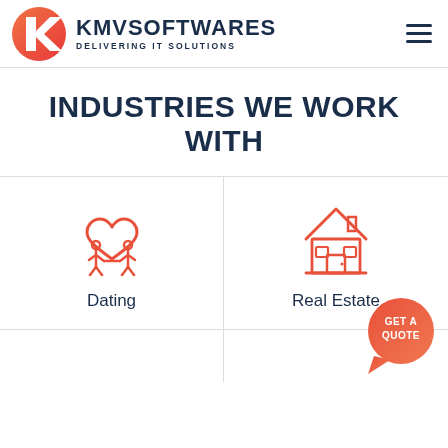[Figure (logo): KMV Softwares logo: red K chevron icon with company name and tagline DELIVERING IT SOLUTIONS]
INDUSTRIES WE WORK WITH
[Figure (illustration): Red line icon of two people holding hands with a heart above them, representing Dating industry]
Dating
[Figure (illustration): Red line icon of a house representing Real Estate industry]
Real Estate
[Figure (other): GET A QUOTE button bubble in red/orange gradient]